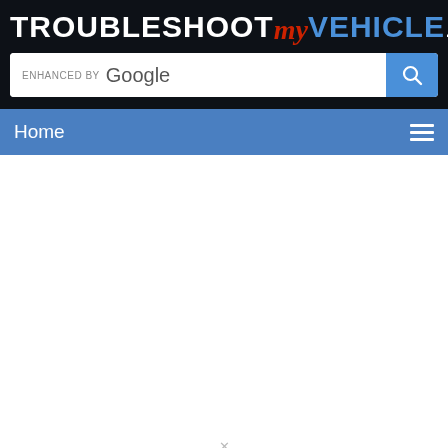[Figure (logo): TROUBLESHOOTmyVEHICLE.com logo with search bar. TROUBLESHOOT in white bold uppercase, 'my' in red italic script, VEHICLE in blue bold uppercase, .com in white. Below is a Google-enhanced search bar with blue search button.]
Home
x